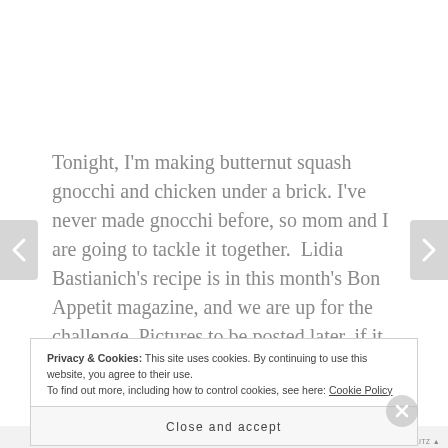Tonight, I'm making butternut squash gnocchi and chicken under a brick. I've never made gnocchi before, so mom and I are going to tackle it together. Lidia Bastianich's recipe is in this month's Bon Appetit magazine, and we are up for the challenge. Pictures to be posted later, if it all works out!
Privacy & Cookies: This site uses cookies. By continuing to use this website, you agree to their use. To find out more, including how to control cookies, see here: Cookie Policy
Close and accept